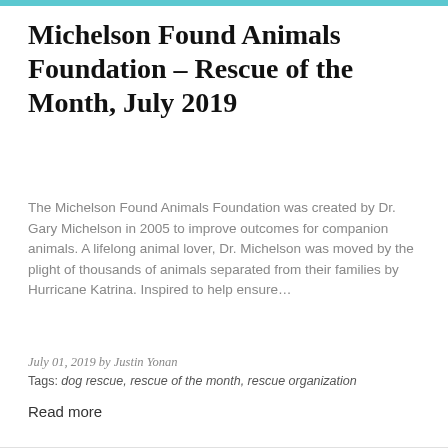Michelson Found Animals Foundation – Rescue of the Month, July 2019
The Michelson Found Animals Foundation was created by Dr. Gary Michelson in 2005 to improve outcomes for companion animals. A lifelong animal lover, Dr. Michelson was moved by the plight of thousands of animals separated from their families by Hurricane Katrina. Inspired to help ensure…
July 01, 2019 by Justin Yonan
Tags: dog rescue, rescue of the month, rescue organization
Read more